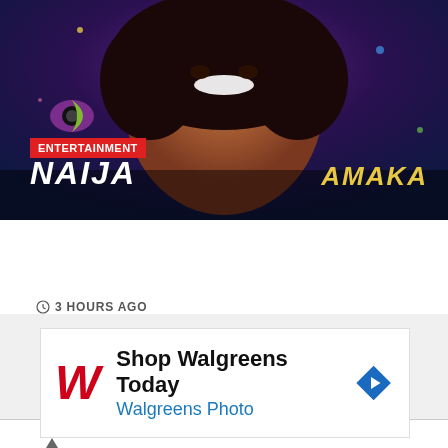[Figure (photo): Hero image of a smiling woman with curly hair against a colorful Big Brother Naija themed background with the BBNaija logo visible]
ENTERTAINMENT
JUST-IN: Amaka Evicted From BBNaija 'Level Up' Season
3 HOURS AGO
[Figure (screenshot): Gray placeholder/ad area]
[Figure (other): Walgreens advertisement: Shop Walgreens Today, Walgreens Photo]